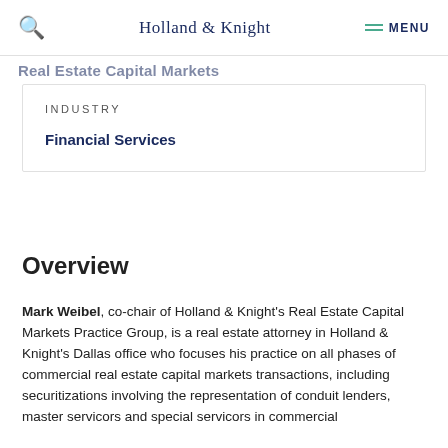Holland & Knight  MENU
Real Estate Capital Markets
INDUSTRY
Financial Services
Overview
Mark Weibel, co-chair of Holland & Knight's Real Estate Capital Markets Practice Group, is a real estate attorney in Holland & Knight's Dallas office who focuses his practice on all phases of commercial real estate capital markets transactions, including securitizations involving the representation of conduit lenders, master servicors and special servicors in commercial